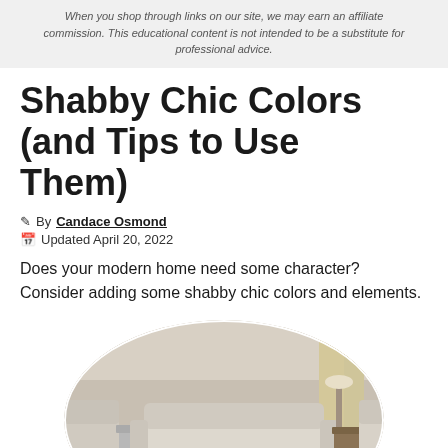When you shop through links on our site, we may earn an affiliate commission. This educational content is not intended to be a substitute for professional advice.
Shabby Chic Colors (and Tips to Use Them)
By Candace Osmond
Updated April 20, 2022
Does your modern home need some character? Consider adding some shabby chic colors and elements.
[Figure (photo): A living room with cream/beige shabby chic furniture including a sofa, armchairs, and side tables, displayed in a circular cropped photo]